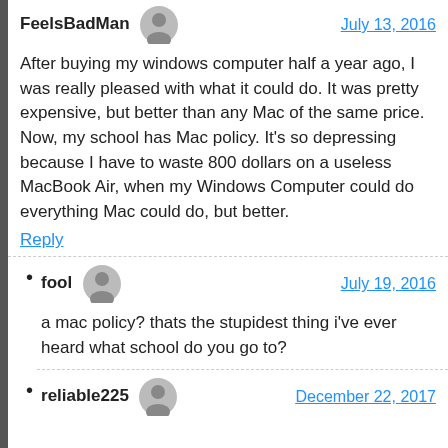FeelsBadMan
July 13, 2016
After buying my windows computer half a year ago, I was really pleased with what it could do. It was pretty expensive, but better than any Mac of the same price. Now, my school has Mac policy. It’s so depressing because I have to waste 800 dollars on a useless MacBook Air, when my Windows Computer could do everything Mac could do, but better.
Reply
fool
July 19, 2016
a mac policy? thats the stupidest thing i've ever heard what school do you go to?
reliable225
December 22, 2017